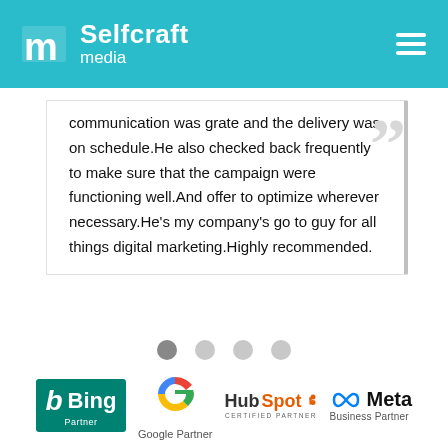[Figure (logo): Selfcraft media logo with teal header and hamburger menu]
communication was grate and the delivery was on schedule.He also checked back frequently to make sure that the campaign were functioning well.And offer to optimize wherever necessary.He's my company's go to guy for all things digital marketing.Highly recommended.
[Figure (other): Closing quotation marks decorative element]
[Figure (other): Carousel dots: 4 dots with first dot active/dark]
[Figure (other): Partner logos: Bing Partner, Google Partner, HubSpot Certified Partner, Meta Business Partner]